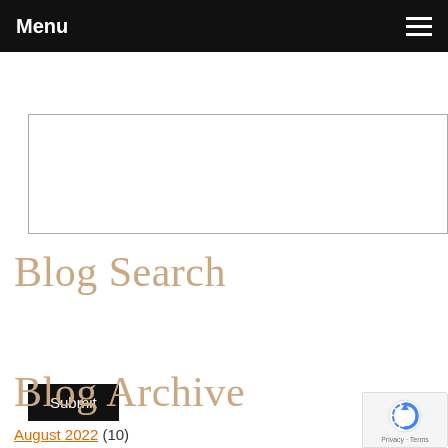Menu
[Figure (other): Empty textarea input box]
Submit
Blog Search
[Figure (other): Search input field with Search button]
Blog Archive
August 2022 (10)